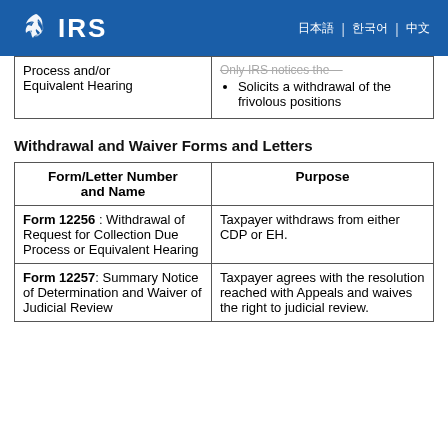IRS
| Form/Letter Number and Name (continued) | Purpose (continued) |
| --- | --- |
| Process and/or Equivalent Hearing | Only IRS notices the      
• Solicits a withdrawal of the frivolous positions |
Withdrawal and Waiver Forms and Letters
| Form/Letter Number and Name | Purpose |
| --- | --- |
| Form 12256 : Withdrawal of Request for Collection Due Process or Equivalent Hearing | Taxpayer withdraws from either CDP or EH. |
| Form 12257: Summary Notice of Determination and Waiver of Judicial Review | Taxpayer agrees with the resolution reached with Appeals and waives the right to judicial review. |